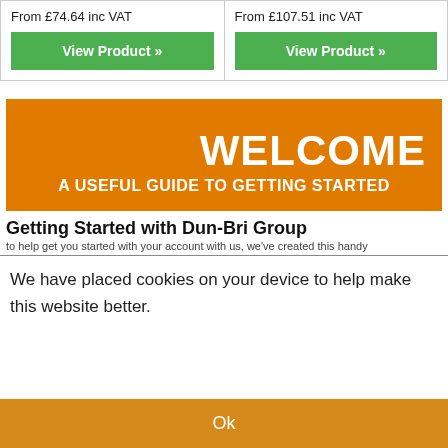From £74.64 inc VAT
From £107.51 inc VAT
View Product »
View Product »
[Figure (infographic): Orange welcome banner with large white bold text 'WELCOME' and subtitle 'A USEFUL GUIDE TO GETTING STARTED']
Getting Started with Dun-Bri Group
to help get you started with your account with us, we've created this handy
We have placed cookies on your device to help make this website better.
Ok